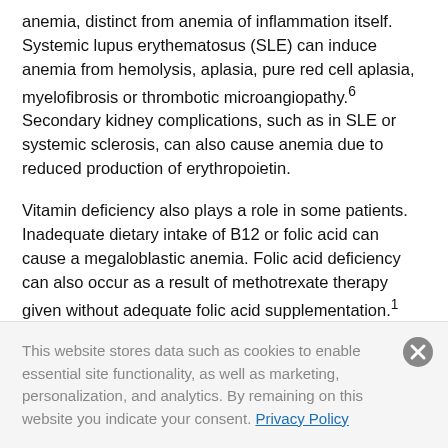anemia, distinct from anemia of inflammation itself. Systemic lupus erythematosus (SLE) can induce anemia from hemolysis, aplasia, pure red cell aplasia, myelofibrosis or thrombotic microangiopathy.6 Secondary kidney complications, such as in SLE or systemic sclerosis, can also cause anemia due to reduced production of erythropoietin.
Vitamin deficiency also plays a role in some patients. Inadequate dietary intake of B12 or folic acid can cause a megaloblastic anemia. Folic acid deficiency can also occur as a result of methotrexate therapy given without adequate folic acid supplementation.1 Evidence also suggests that vitamin D plays a role in
This website stores data such as cookies to enable essential site functionality, as well as marketing, personalization, and analytics. By remaining on this website you indicate your consent. Privacy Policy